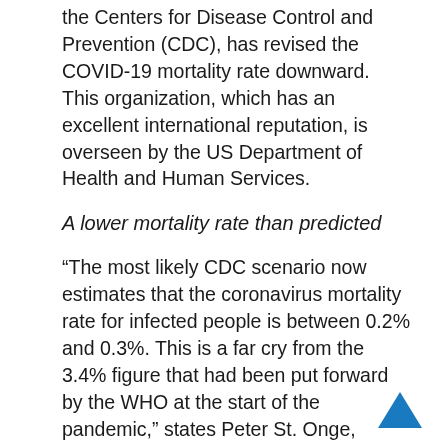the Centers for Disease Control and Prevention (CDC), has revised the COVID-19 mortality rate downward. This organization, which has an excellent international reputation, is overseen by the US Department of Health and Human Services.
A lower mortality rate than predicted
“The most likely CDC scenario now estimates that the coronavirus mortality rate for infected people is between 0.2% and 0.3%. This is a far cry from the 3.4% figure that had been put forward by the WHO at the start of the pandemic,” states Peter St. Onge, Senior Fellow at the Montreal Economic Institute. “While these data are from the United States, it’s reasonable to think that the situation is similar in Canada,” adds the researcher.